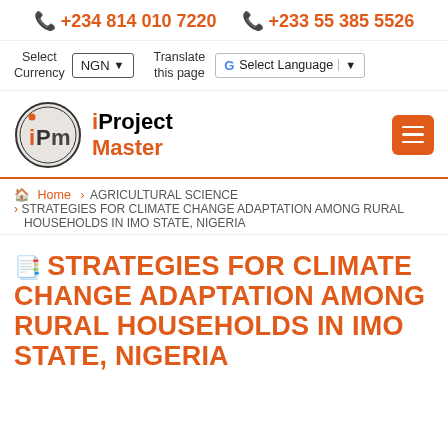+234 814 010 7220   +233 55 385 5526
Select Currency  NGN  Translate this page  G Select Language
[Figure (logo): iProject Master logo — circular IPM badge with orange i, dark PM letters, and brand name iProject Master in bold beside it]
Home > AGRICULTURAL SCIENCE > STRATEGIES FOR CLIMATE CHANGE ADAPTATION AMONG RURAL HOUSEHOLDS IN IMO STATE, NIGERIA
STRATEGIES FOR CLIMATE CHANGE ADAPTATION AMONG RURAL HOUSEHOLDS IN IMO STATE, NIGERIA